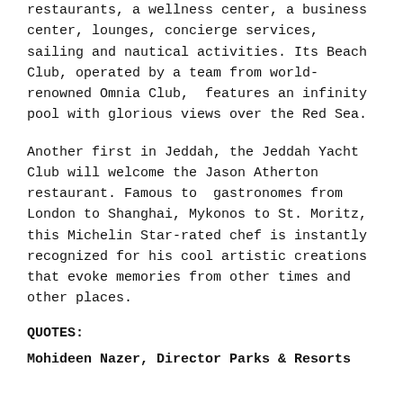restaurants, a wellness center, a business center, lounges, concierge services,  sailing and nautical activities. Its Beach Club, operated by a team from world-renowned Omnia Club,  features an infinity pool with glorious views over the Red Sea.
Another first in Jeddah, the Jeddah Yacht Club will welcome the Jason Atherton restaurant. Famous to  gastronomes from London to Shanghai, Mykonos to St. Moritz, this Michelin Star-rated chef is instantly recognized for his cool artistic creations that evoke memories from other times and other places.
QUOTES:
Mohideen Nazer, Director Parks & Resorts